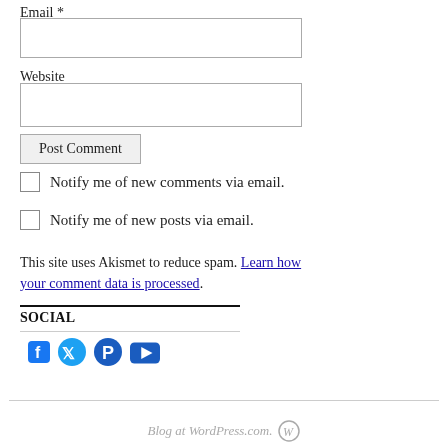Email *
Website
Post Comment
Notify me of new comments via email.
Notify me of new posts via email.
This site uses Akismet to reduce spam. Learn how your comment data is processed.
SOCIAL
[Figure (other): Social media icons: Facebook, Twitter, Pinterest, YouTube]
Blog at WordPress.com.